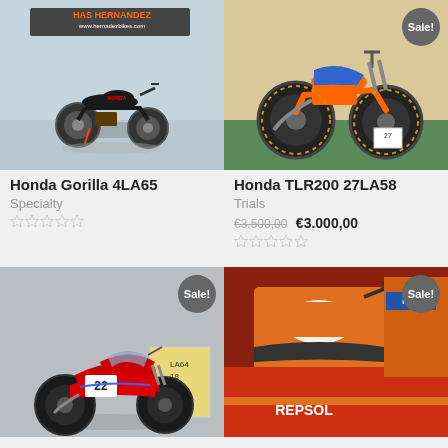[Figure (photo): Honda Gorilla 4LA65 small black motorcycle on display in a showroom with HAS Hernandez Bikes branding on the wall background]
Honda Gorilla 4LA65
Specialty
[Figure (photo): Honda TLR200 27LA58 orange and blue trials motorcycle standing in a showroom with green floor, Sale! badge]
Honda TLR200 27LA58
Trials
€3.500,00 €3.000,00
[Figure (photo): Red racing motorcycle number 22 in a showroom with Sale! badge, partially cropped]
[Figure (photo): Honda motorcycles including orange and red Repsol models in a showroom, Sale! badge, partially cropped]